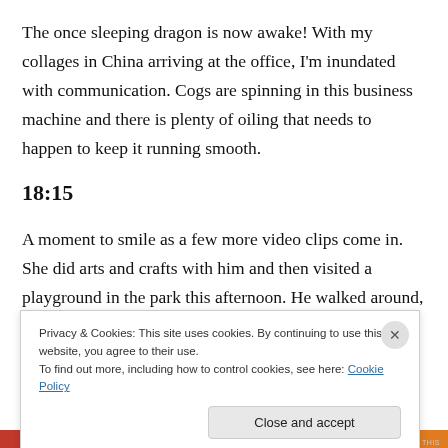The once sleeping dragon is now awake! With my collages in China arriving at the office, I'm inundated with communication. Cogs are spinning in this business machine and there is plenty of oiling that needs to happen to keep it running smooth.
18:15
A moment to smile as a few more video clips come in. She did arts and crafts with him and then visited a playground in the park this afternoon. He walked around, waving at
Privacy & Cookies: This site uses cookies. By continuing to use this website, you agree to their use.
To find out more, including how to control cookies, see here: Cookie Policy
Close and accept